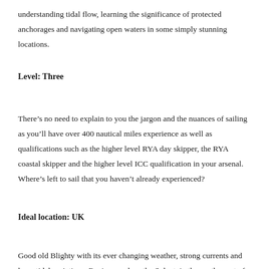understanding tidal flow, learning the significance of protected anchorages and navigating open waters in some simply stunning locations.
Level: Three
There’s no need to explain to you the jargon and the nuances of sailing as you’ll have over 400 nautical miles experience as well as qualifications such as the higher level RYA day skipper, the RYA coastal skipper and the higher level ICC qualification in your arsenal. Where’s left to sail that you haven’t already experienced?
Ideal location: UK
Good old Blighty with its ever changing weather, strong currents and large tidal variations. Regions such as the Solent, in the south coast of